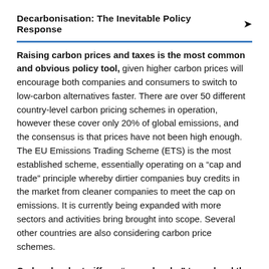Decarbonisation: The Inevitable Policy Response
Raising carbon prices and taxes is the most common and obvious policy tool, given higher carbon prices will encourage both companies and consumers to switch to low-carbon alternatives faster. There are over 50 different country-level carbon pricing schemes in operation, however these cover only 20% of global emissions, and the consensus is that prices have not been high enough. The EU Emissions Trading Scheme (ETS) is the most established scheme, essentially operating on a “cap and trade” principle whereby dirtier companies buy credits in the market from cleaner companies to meet the cap on emissions. It is currently being expanded with more sectors and activities bring brought into scope. Several other countries are also considering carbon price schemes.
Carbon border tariffs or “green border” taxes level the